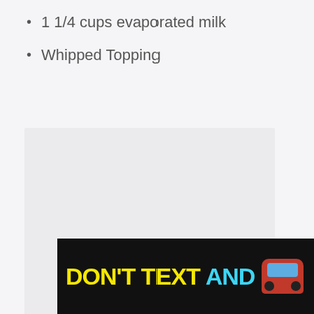1 1/4 cups evaporated milk
Whipped Topping
[Figure (screenshot): Gray placeholder image area for a recipe photo]
[Figure (screenshot): Teal heart/favorite button with 6.9K count and share button UI overlay]
[Figure (screenshot): What's Next panel showing Maple Pumpkin Pie with thumbnail]
[Figure (screenshot): Ad banner: DON'T TEXT AND [car emoji] with NHTSA branding]